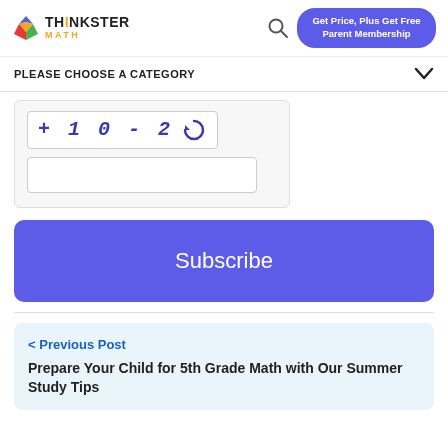Thinkster Math | Get Price, Plus Get Free Parent Membership
PLEASE CHOOSE A CATEGORY
[Figure (screenshot): CAPTCHA widget showing characters '+ 1 0 - 2' with a refresh icon, and a text input field below it]
Subscribe
< Previous Post
Prepare Your Child for 5th Grade Math with Our Summer Study Tips